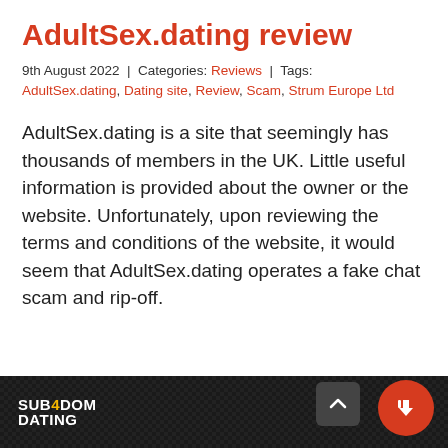AdultSex.dating review
9th August 2022 | Categories: Reviews | Tags: AdultSex.dating, Dating site, Review, Scam, Strum Europe Ltd
AdultSex.dating is a site that seemingly has thousands of members in the UK. Little useful information is provided about the owner or the website. Unfortunately, upon reviewing the terms and conditions of the website, it would seem that AdultSex.dating operates a fake chat scam and rip-off.
[Figure (screenshot): Dark bottom bar with SUB4DOM DATING logo in white and gold, a scroll-to-top button (dark grey rounded square with chevron), and a red thumbs-down button on the right.]